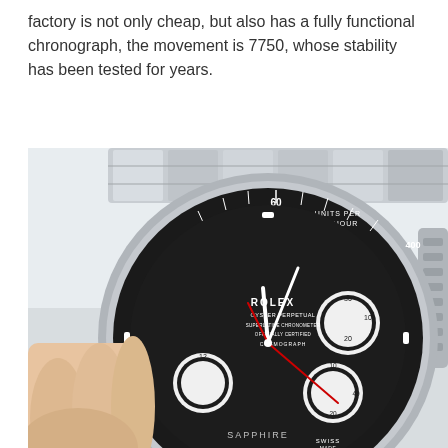factory is not only cheap, but also has a fully functional chronograph, the movement is 7750, whose stability has been tested for years.
[Figure (photo): Close-up photo of a person's hand holding a Rolex Oyster Perpetual Cosmograph Daytona watch with a black dial and stainless steel bracelet. The watch face shows subdials and the tachymeter bezel with markings for units per hour (60, 65, 400). The dial text reads: ROLEX, OYSTER PERPETUAL, SUPERLATIVE CHRONOMETER, OFFICIALLY CERTIFIED, COSMOGRAPH. The caseback area shows a SAPPHIRE crystal marking.]